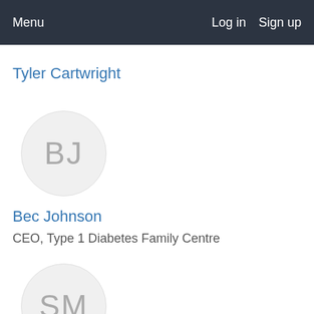Menu    Log in   Sign up
Tyler Cartwright
[Figure (other): Avatar circle with initials BJ in gray on light gray background]
Bec Johnson
CEO, Type 1 Diabetes Family Centre
[Figure (other): Avatar circle with initials SM in gray on light gray background]